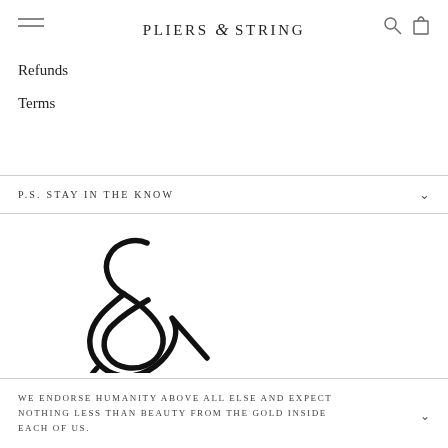PLIERS & STRING
Refunds
Terms
P.S. STAY IN THE KNOW
[Figure (logo): Stylized cursive ampersand logo mark for Pliers & String brand]
WE ENDORSE HUMANITY ABOVE ALL ELSE AND EXPECT NOTHING LESS THAN BEAUTY FROM THE GOLD INSIDE EACH OF US.